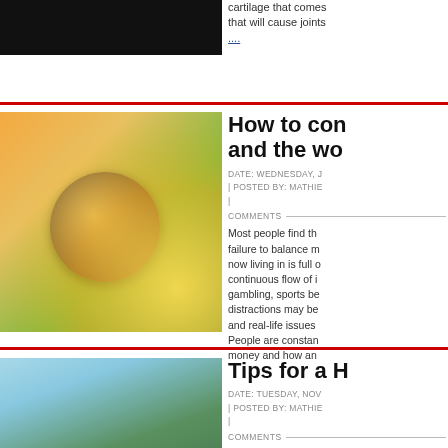[Figure (photo): Dark/black image, partial view at top of page]
cartilage that comes... that will cause joints....
[Figure (photo): Person holding a globe with sunlit green fields in background]
How to connect and the wo...
DATE: WEDNESDAY, J... | POSTED BY: MATHIE...
COMMENTS
Most people find the... failure to balance m... now living in is full c... continuous flow of i... gambling, sports be... distractions may be... and real-life issues... People are constan... money and how an...
[Figure (photo): Rose gold love balloon letters spelling 'love' with tropical background]
Tips for a H...
DATE: TUESDAY, NOV... | POSTED BY: MATHIE...
COMMENTS
Love is such a grea... people together. Ba... new lives and home... together two people...